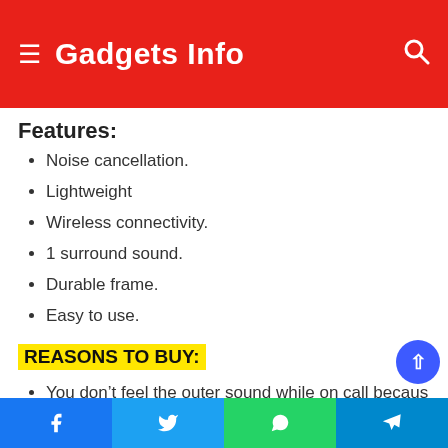Gadgets Info
Features:
Noise cancellation.
Lightweight
Wireless connectivity.
1 surround sound.
Durable frame.
Easy to use.
REASONS TO BUY:
You don’t feel the outer sound while on call becaus…
Facebook  Twitter  WhatsApp  Telegram